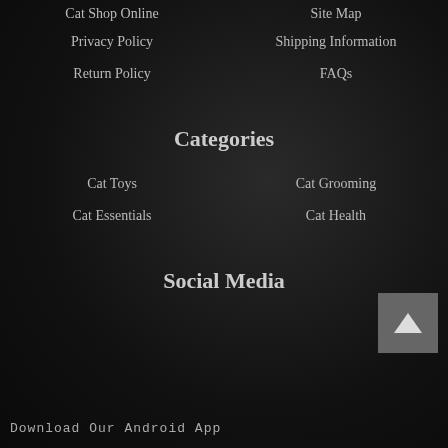Cat Shop Online
Site Map
Privacy Policy
Shipping Information
Return Policy
FAQs
Categories
Cat Toys
Cat Grooming
Cat Essentials
Cat Health
Social Media
Download Our Android App